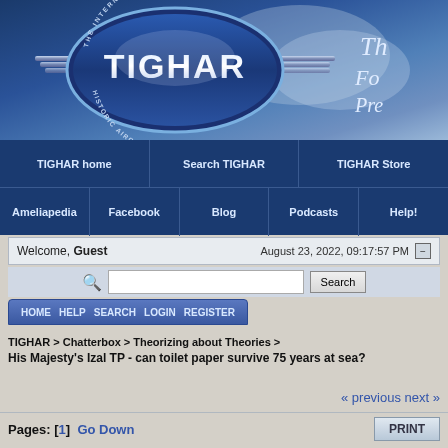[Figure (logo): TIGHAR - The International Group for Historic Aircraft Recovery logo with wings and oval badge]
TIGHAR home | Search TIGHAR | TIGHAR Store | Ameliapedia | Facebook | Blog | Podcasts | Help!
Welcome, Guest   August 23, 2022, 09:17:57 PM
HOME  HELP  SEARCH  LOGIN  REGISTER
TIGHAR > Chatterbox > Theorizing about Theories > His Majesty's Izal TP - can toilet paper survive 75 years at sea?
« previous next »
Pages: [1]  Go Down   PRINT